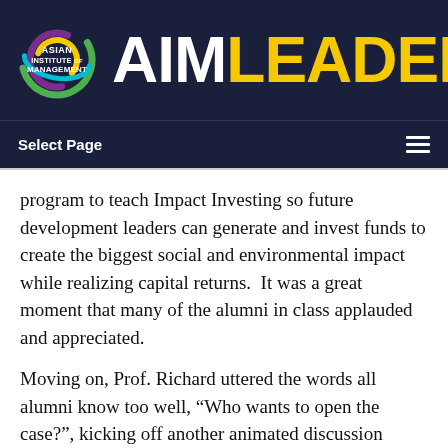[Figure (logo): Asian Institute of Management logo with colorful swirl and AIM LEADER text — AIM in white, LEADER in yellow, on dark navy background]
Select Page
program to teach Impact Investing so future development leaders can generate and invest funds to create the biggest social and environmental impact while realizing capital returns.  It was a great moment that many of the alumni in class applauded and appreciated.
Moving on, Prof. Richard uttered the words all alumni know too well, “Who wants to open the case?”, kicking off another animated discussion about the issues presented in the case that Prof.